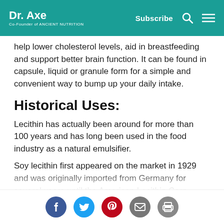Dr. Axe | Subscribe
help lower cholesterol levels, aid in breastfeeding and support better brain function. It can be found in capsule, liquid or granule form for a simple and convenient way to bump up your daily intake.
Historical Uses:
Lecithin has actually been around for more than 100 years and has long been used in the food industry as a natural emulsifier.
Soy lecithin first appeared on the market in 1929 and was originally imported from Germany for several years until the American Lecithin Corp. began producing lecithin production in the…